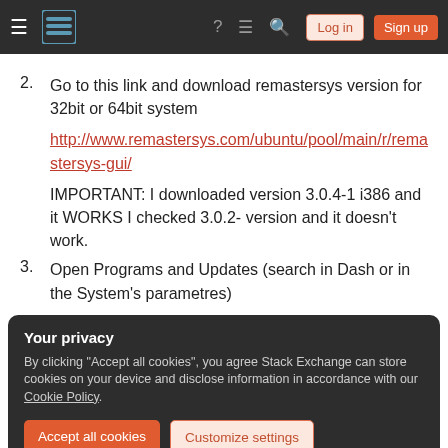Stack Exchange navigation bar with Log in and Sign up buttons
2. Go to this link and download remastersys version for 32bit or 64bit system
http://www.remastersys.com/ubuntu/pool/main/r/remastersys-gui/
IMPORTANT: I downloaded version 3.0.4-1 i386 and it WORKS I checked 3.0.2- version and it doesn't work.
3. Open Programs and Updates (search in Dash or in the System's parametres)
Your privacy
By clicking "Accept all cookies", you agree Stack Exchange can store cookies on your device and disclose information in accordance with our Cookie Policy.
Accept all cookies   Customize settings
and press OK